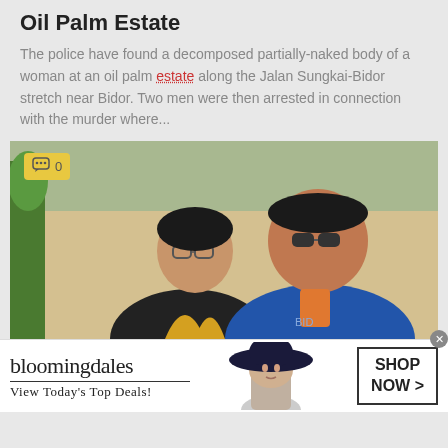Oil Palm Estate
The police have found a decomposed partially-naked body of a woman at an oil palm estate along the Jalan Sungkai-Bidor stretch near Bidor. Two men were then arrested in connection with the murder where...
[Figure (photo): Photo of two men standing together, one wearing glasses and a black/yellow sports jacket, the other wearing a blue polo shirt and sunglasses. A yellow comment badge showing '0' is in the top-left corner.]
[Figure (infographic): Bloomingdales advertisement banner: 'bloomingdales / View Today's Top Deals!' with an image of a woman in a wide-brimmed hat and a 'SHOP NOW >' button on the right.]